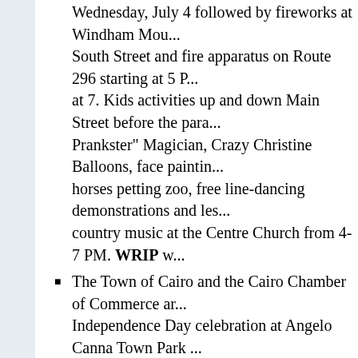Wednesday, July 4 followed by fireworks at Windham Mou... South Street and fire apparatus on Route 296 starting at 5 PM at 7. Kids activities up and down Main Street before the para... Prankster" Magician, Crazy Christine Balloons, face paintin... horses petting zoo, free line-dancing demonstrations and les... country music at the Centre Church from 4-7 PM. WRIP w...
The Town of Cairo and the Cairo Chamber of Commerce ar... Independence Day celebration at Angelo Canna Town Park ... July 4 from 5-10 PM with live music, food, vendors, and fir...
The Flat Creek parade will be held on Wednesday, July 4. L... Baptist Church, 849 Flat Creek Road in Gilboa at noon; para...
Thursday 7/5
The Fire Prevention and Life Safety team will be speaking t... these issues at the old Durham Elementary School building, on Thursday, July 5 at 7 PM. Smoke detectors will be given them.
Sail On, a Beach Boys tribute band, will perform at the Mus...